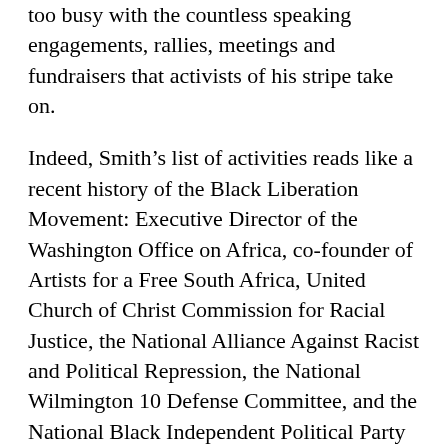too busy with the countless speaking engagements, rallies, meetings and fundraisers that activists of his stripe take on.
Indeed, Smith's list of activities reads like a recent history of the Black Liberation Movement: Executive Director of the Washington Office on Africa, co-founder of Artists for a Free South Africa, United Church of Christ Commission for Racial Justice, the National Alliance Against Racist and Political Repression, the National Wilmington 10 Defense Committee, and the National Black Independent Political Party just to name a few.
After his collapse in Palestine he returned to the United States, where he was diagnosed with colon cancer and given only a few months to live. He refused to surrender to the diagnosis. The call went out far and wide that he was ill and in need of assistance. My wife and I were among the many folks who held fundraisers for him. The fundraisers